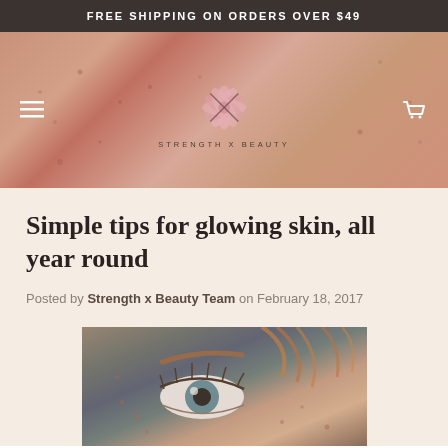FREE SHIPPING ON ORDERS OVER $49
[Figure (photo): Close-up of freckled skin with a pink floral logo overlay and navigation bar showing hamburger menu, 'STRENGTH X BEAUTY' text logo with pink flower, and shopping cart icon]
Simple tips for glowing skin, all year round
Posted by Strength x Beauty Team on February 18, 2017
[Figure (photo): Close-up portrait photo of a woman with blue eyes, red-brown hair, and freckled skin, cropped to show eye and upper face area]